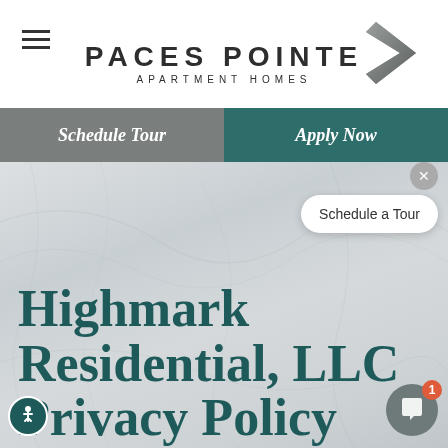PACES POINTE APARTMENT HOMES
Schedule Tour
Apply Now
[Figure (screenshot): Marble/stone textured hero background image]
Schedule a Tour
Highmark Residential, LLC Privacy Policy